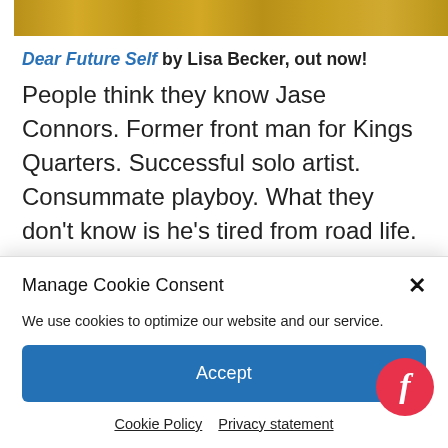[Figure (photo): Golden/sandy textured strip at top of page, partially cropped]
Dear Future Self by Lisa Becker, out now!
People think they know Jase Connors. Former front man for Kings Quarters. Successful solo artist. Consummate playboy. What they don't know is he's tired from road life. Tired of road life. Just plain tired.
Manage Cookie Consent
We use cookies to optimize our website and our service.
Accept
Cookie Policy   Privacy statement